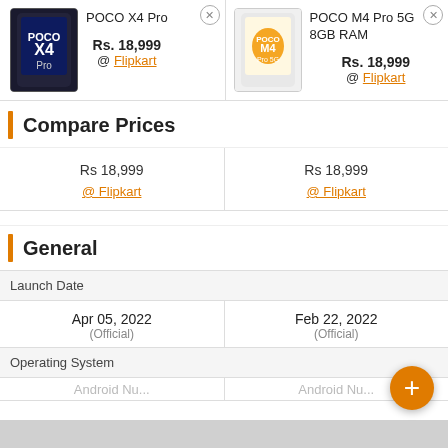[Figure (photo): POCO X4 Pro smartphone product image]
POCO X4 Pro
Rs. 18,999
@ Flipkart
[Figure (photo): POCO M4 Pro 5G 8GB RAM smartphone product image]
POCO M4 Pro 5G 8GB RAM
Rs. 18,999
@ Flipkart
Compare Prices
| POCO X4 Pro | POCO M4 Pro 5G 8GB RAM |
| --- | --- |
| Rs 18,999
@ Flipkart | Rs 18,999
@ Flipkart |
General
| Launch Date |  |
| --- | --- |
| Apr 05, 2022
(Official) | Feb 22, 2022
(Official) |
Operating System
Android Nu...  Android Nu...